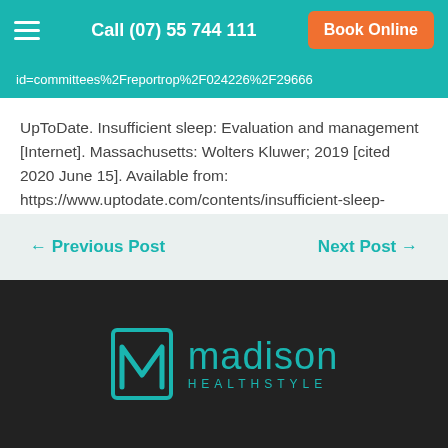Call (07) 55 744 111 | Book Online
id=committees%2Freportrop%2F024226%2F29666
UpToDate. Insufficient sleep: Evaluation and management [Internet]. Massachusetts: Wolters Kluwer; 2019 [cited 2020 June 15]. Available from: https://www.uptodate.com/contents/insufficient-sleep-evaluation-and-management
← Previous Post    Next Post →
[Figure (logo): Madison Healthstyle logo with teal stylized M icon and text]